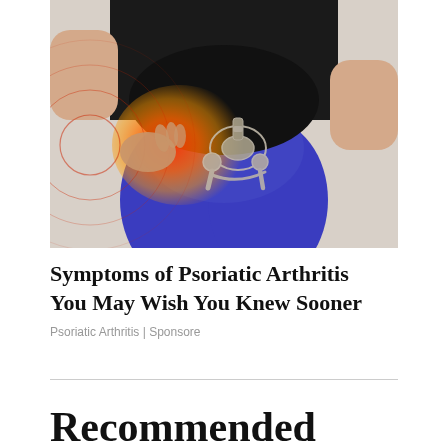[Figure (photo): A person wearing a black top and blue leggings holding their hip area. An x-ray/anatomical overlay shows the hip joint with a red heat-map highlighting the painful area, surrounded by concentric red circles suggesting pain radiation.]
Symptoms of Psoriatic Arthritis You May Wish You Knew Sooner
Psoriatic Arthritis | Sponsore
Recommended